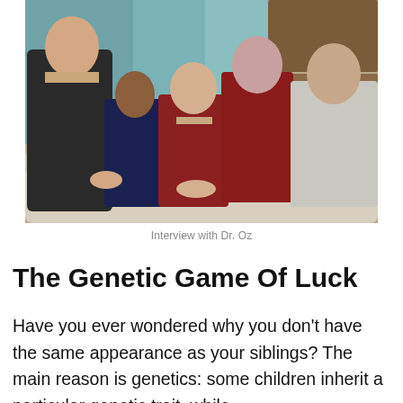[Figure (photo): Five people sitting on a couch: a man in a suit on the left, two children in the middle, and two women on the right, in what appears to be a TV studio setting.]
Interview with Dr. Oz
The Genetic Game Of Luck
Have you ever wondered why you don’t have the same appearance as your siblings? The main reason is genetics: some children inherit a particular genetic trait, while